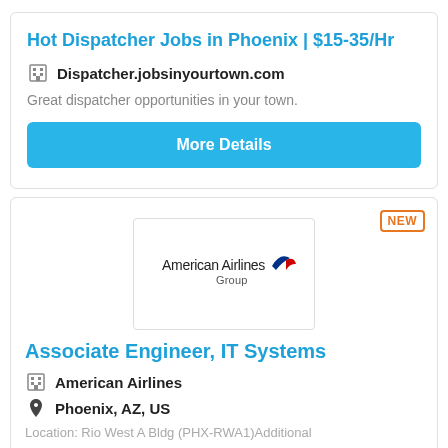Hot Dispatcher Jobs in Phoenix | $15-35/Hr
Dispatcher.jobsinyourtown.com
Great dispatcher opportunities in your town.
More Details
[Figure (logo): American Airlines Group logo]
Associate Engineer, IT Systems
American Airlines
Phoenix, AZ, US
Location: Rio West A Bldg (PHX-RWA1)Additional